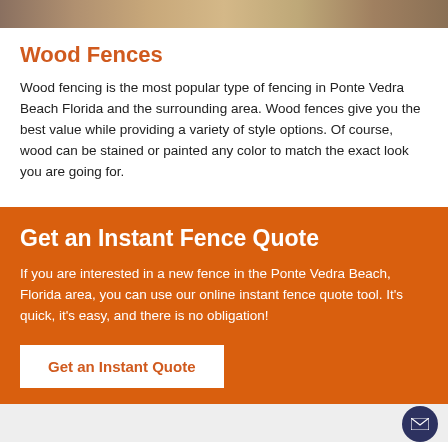[Figure (photo): Partial image strip at top showing wood fence photo]
Wood Fences
Wood fencing is the most popular type of fencing in Ponte Vedra Beach Florida and the surrounding area. Wood fences give you the best value while providing a variety of style options. Of course, wood can be stained or painted any color to match the exact look you are going for.
Get an Instant Fence Quote
If you are interested in a new fence in the Ponte Vedra Beach, Florida area, you can use our online instant fence quote tool. It's quick, it's easy, and there is no obligation!
Get an Instant Quote